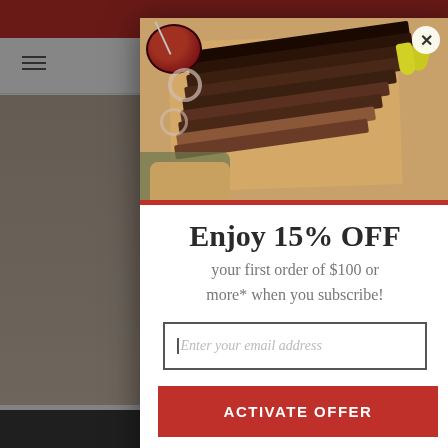[Figure (screenshot): Website background showing navigation bar with hamburger menu and cart icon, product cards partially visible on left and right sides, with a dark footer bar at the bottom]
[Figure (photo): BBQ smoked brisket sliced on a wooden cutting board with sauce bowl, onion rings, and peppers, used as modal header image]
Enjoy 15% OFF
your first order of $100 or more* when you subscribe!
Enter your email address
ACTIVATE OFFER
No Thank You